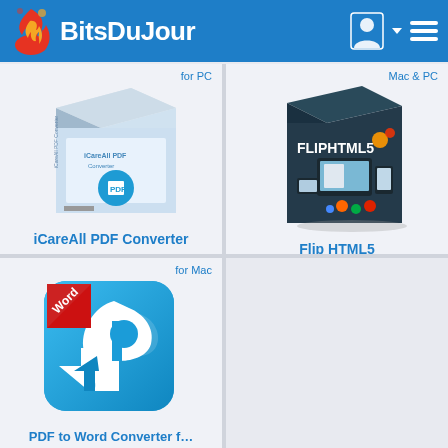BitsDuJour
[Figure (screenshot): iCareAll PDF Converter software box art - light blue/white box with PDF icon]
for PC
iCareAll PDF Converter
[Figure (screenshot): Flip HTML5 software box art - dark teal box with device mockups showing FLIPHTML5 branding]
Mac & PC
Flip HTML5
[Figure (screenshot): PDF to Word Converter for Mac app icon - blue rounded square with white P arrow logo and red Word badge]
for Mac